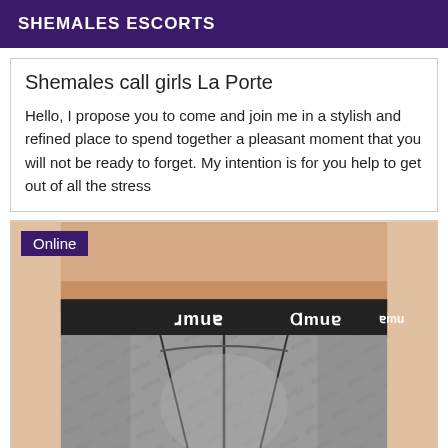SHEMALES ESCORTS
Shemales call girls La Porte
Hello, I propose you to come and join me in a stylish and refined place to spend together a pleasant moment that you will not be ready to forget. My intention is for you help to get out of all the stress
[Figure (photo): Person wearing grey Puma boxer briefs/underwear, close-up waist shot with 'Online' badge overlay]